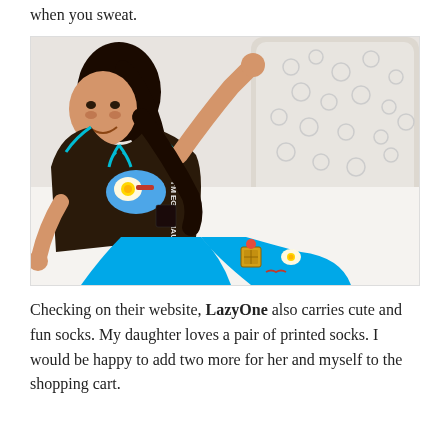when you sweat.
[Figure (photo): A smiling woman with dark hair lying on a white bed/couch wearing a dark brown short-sleeve t-shirt with a breakfast graphic (eggs and bacon) and text 'I'M EGGS-HAUSTED', paired with bright blue capri pants covered in breakfast food prints (waffles, eggs, bacon). She is posed casually against white pillows.]
Checking on their website, LazyOne also carries cute and fun socks. My daughter loves a pair of printed socks. I would be happy to add two more for her and myself to the shopping cart.